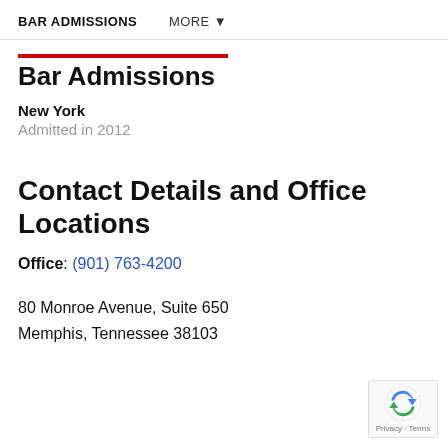BAR ADMISSIONS    MORE ▼
Bar Admissions
New York
Admitted in 2012
Contact Details and Office Locations
Office: (901) 763-4200
80 Monroe Avenue, Suite 650
Memphis, Tennessee 38103